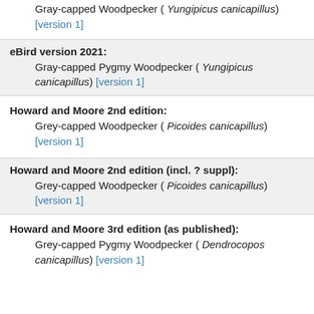Gray-capped Woodpecker ( Yungipicus canicapillus) [version 1]
eBird version 2021:
Gray-capped Pygmy Woodpecker ( Yungipicus canicapillus) [version 1]
Howard and Moore 2nd edition:
Grey-capped Woodpecker ( Picoides canicapillus) [version 1]
Howard and Moore 2nd edition (incl. ? suppl):
Grey-capped Woodpecker ( Picoides canicapillus) [version 1]
Howard and Moore 3rd edition (as published):
Grey-capped Pygmy Woodpecker ( Dendrocopos canicapillus) [version 1]